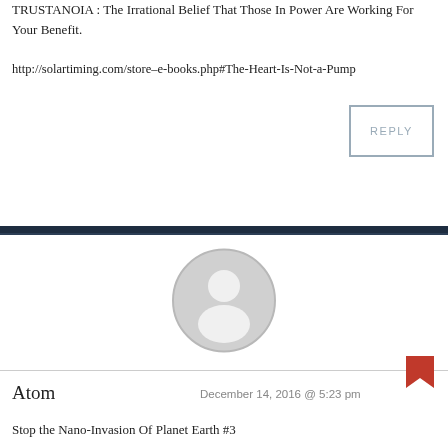TRUSTANOIA : The Irrational Belief That Those In Power Are Working For Your Benefit.
http://solartiming.com/store–e-books.php#The-Heart-Is-Not-a-Pump
REPLY
[Figure (illustration): Default user avatar: circular grey icon with a silhouette of a person (head and shoulders), white figure on light grey background with a grey circular border.]
Atom
December 14, 2016 @ 5:23 pm
Stop the Nano-Invasion Of Planet Earth #3